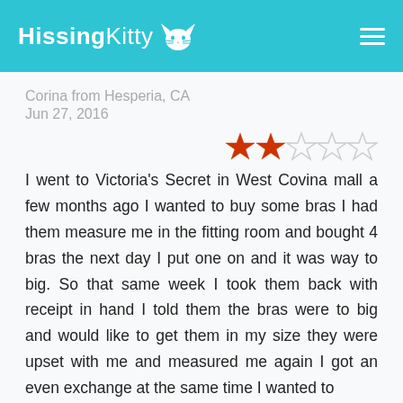HissingKitty
Corina from Hesperia, CA
Jun 27, 2016
[Figure (other): 2 out of 5 stars rating]
I went to Victoria's Secret in West Covina mall a few months ago I wanted to buy some bras I had them measure me in the fitting room and bought 4 bras the next day I put one on and it was way to big. So that same week I took them back with receipt in hand I told them the bras were to big and would like to get them in my size they were upset with me and measured me again I got an even exchange at the same time I wanted to